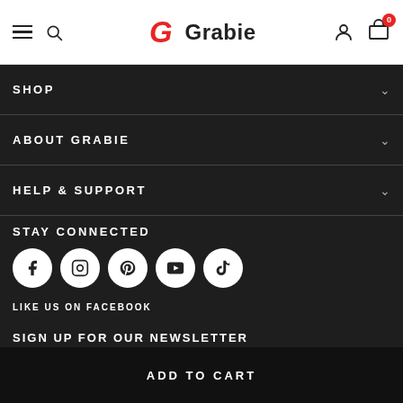Grabie - navigation header with hamburger menu, search, logo, account, and cart (0 items)
SHOP
ABOUT GRABIE
HELP & SUPPORT
STAY CONNECTED
[Figure (illustration): Row of 5 social media icon circles: Facebook, Instagram, Pinterest, YouTube, TikTok]
LIKE US ON FACEBOOK
SIGN UP FOR OUR NEWSLETTER
ADD TO CART